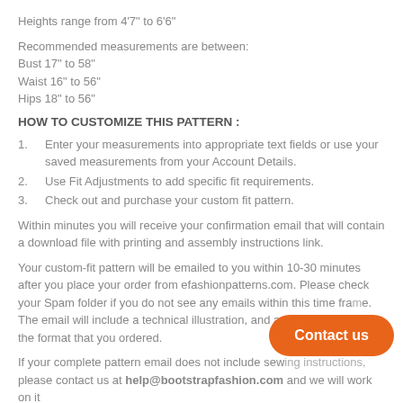Heights range from 4'7" to 6'6"
Recommended measurements are between:
Bust 17" to 58"
Waist 16" to 56"
Hips 18" to 56"
HOW TO CUSTOMIZE THIS PATTERN :
1.    Enter your measurements into appropriate text fields or use your saved measurements from your Account Details.
2.    Use Fit Adjustments to add specific fit requirements.
3.    Check out and purchase your custom fit pattern.
Within minutes you will receive your confirmation email that will contain a download file with printing and assembly instructions link.
Your custom-fit pattern will be emailed to you within 10-30 minutes after you place your order from efashionpatterns.com. Please check your Spam folder if you do not see any emails within this time frame. The email will include a technical illustration, and an actual pattern in the format that you ordered.
If your complete pattern email does not include sewing instructions, please contact us at help@bootstrapfashion.com and we will work on it